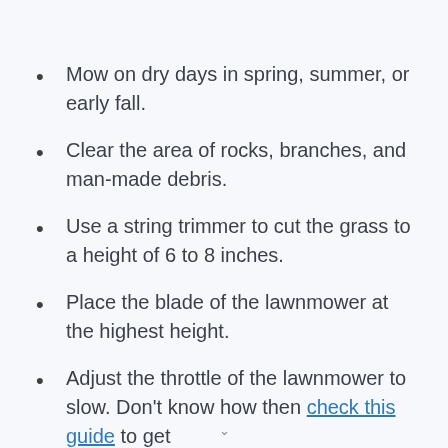Mow on dry days in spring, summer, or early fall.
Clear the area of rocks, branches, and man-made debris.
Use a string trimmer to cut the grass to a height of 6 to 8 inches.
Place the blade of the lawnmower at the highest height.
Adjust the throttle of the lawnmower to slow. Don't know how then check this guide to get